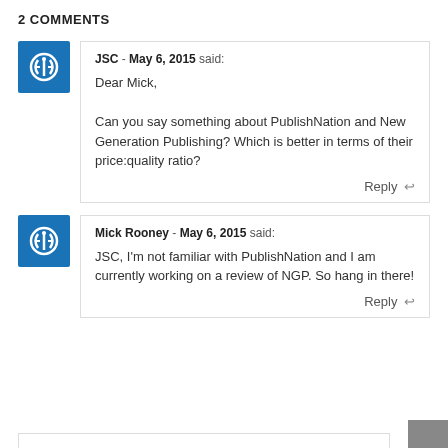2 COMMENTS
JSC - May 6, 2015 said:
Dear Mick,

Can you say something about PublishNation and New Generation Publishing? Which is better in terms of their price:quality ratio?
Mick Rooney - May 6, 2015 said:
JSC, I'm not familiar with PublishNation and I am currently working on a review of NGP. So hang in there!